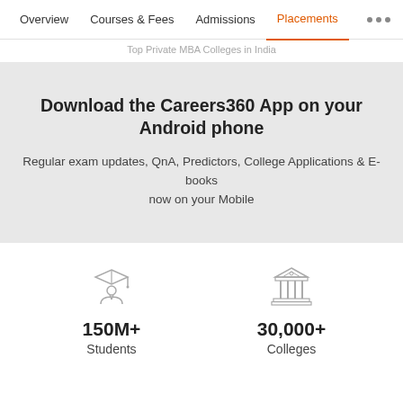Overview | Courses & Fees | Admissions | Placements ...
Top Private MBA Colleges in India
Download the Careers360 App on your Android phone
Regular exam updates, QnA, Predictors, College Applications & E-books now on your Mobile
[Figure (illustration): Icon of a student/graduate wearing a graduation cap]
150M+
Students
[Figure (illustration): Icon of a building/college with pillars and roof]
30,000+
Colleges